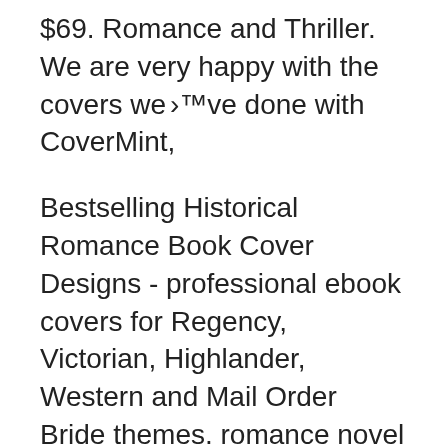$69. Romance and Thriller. We are very happy with the covers we’ve done with CoverMint,
Bestselling Historical Romance Book Cover Designs - professional ebook covers for Regency, Victorian, Highlander, Western and Mail Order Bride themes. romance novel covers, ebook covers, pre-made ebook covers, self published author covers, book covers, Look no further than Romance Novel Covers Now!
$20 Ebook \\ $45 Full Cover. Click to Purchase + Customize! Upside Down \\ Sci-fi/Contemporary Premade Cover. The Reluctant Bride \\ Historical...